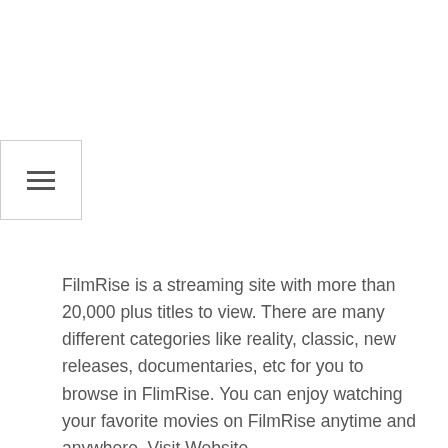[Figure (other): Hamburger menu button icon with three horizontal lines inside a bordered box]
FilmRise is a streaming site with more than 20,000 plus titles to view. There are many different categories like reality, classic, new releases, documentaries, etc for you to browse in FlimRise. You can enjoy watching your favorite movies on FilmRise anytime and anywhere. Visit Website...
Why use VPN Service With Free Streaming Sites?
The reason you must use the best VPN services with